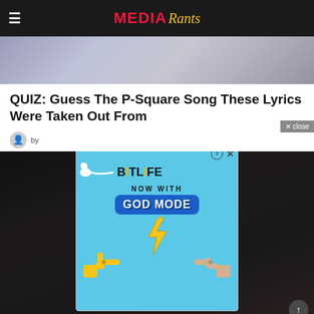MEDIA Rants
[Figure (photo): Group of people crowd photo used as hero banner]
QUIZ: Guess The P-Square Song These Lyrics Were Taken Out From
by [author]
[Figure (screenshot): BitLife advertisement showing sperm icon, BitLife logo, NOW WITH text, and GOD MODE in blue badge with lightning bolt, two hands pointing at each other on cyan background]
[Figure (photo): Dark photo of two people in background behind the ad overlay]